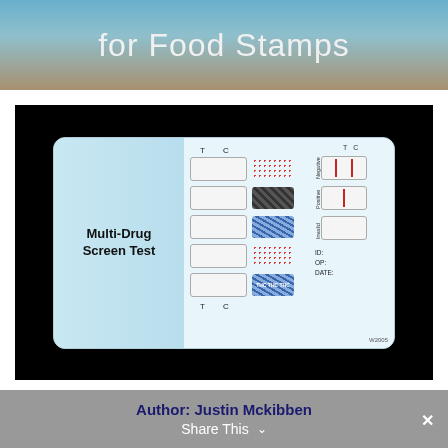for Food Stamps
[Figure (photo): A Multi-Drug Screen Test card on a black background, showing five test windows with colored pattern boxes (red dot, black diagonal stripe, blue pattern, red pattern, blue THC pattern), and a legend on the right showing Negative (two red lines), Positive (one red line), and Invalid (blank), with ID, OP, and DATE fields. W2005 label in bottom right.]
Author: Justin Mckibben
Share This ∨ ✕